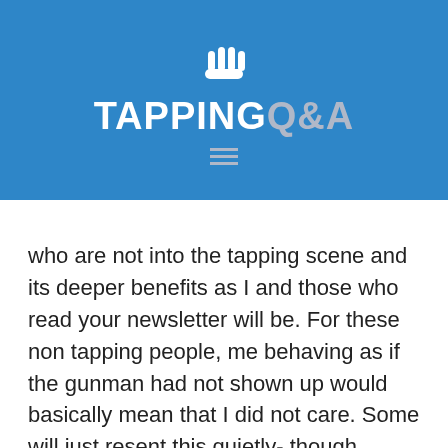TAPPING Q&A
who are not into the tapping scene and its deeper benefits as I and those who read your newsletter will be. For these non tapping people, me behaving as if the gunman had not shown up would basically mean that I did not care. Some will just resent this quietly- though letting me get the message through their body language. Others will increase the emotional power/aggression of their